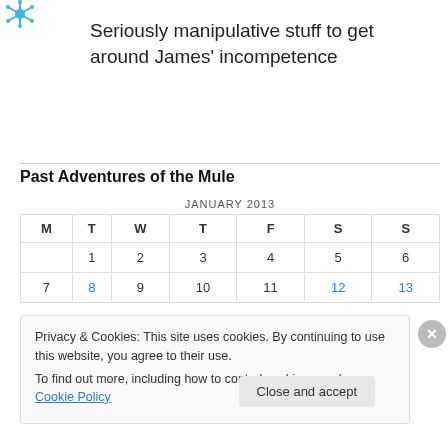[Figure (logo): Snowflake/star logo icon in blue]
Seriously manipulative stuff to get around James' incompetence
Past Adventures of the Mule
| M | T | W | T | F | S | S |
| --- | --- | --- | --- | --- | --- | --- |
|  | 1 | 2 | 3 | 4 | 5 | 6 |
| 7 | 8 | 9 | 10 | 11 | 12 | 13 |
Privacy & Cookies: This site uses cookies. By continuing to use this website, you agree to their use. To find out more, including how to control cookies, see here: Cookie Policy